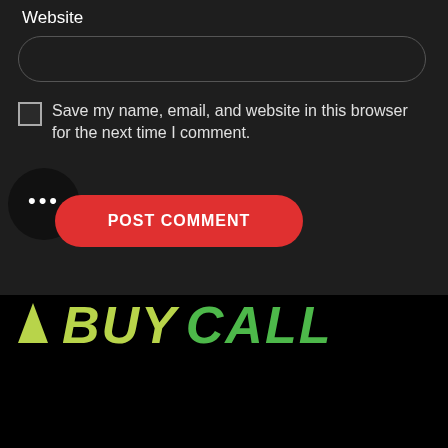Website
[Figure (screenshot): Text input field for website URL with rounded border]
Save my name, email, and website in this browser for the next time I comment.
[Figure (screenshot): Dark circular menu button with three dots]
[Figure (screenshot): Red rounded POST COMMENT button]
[Figure (screenshot): Large bold italic text reading BUY CALL in green/lime colors with arrow icon]
We use cookies to improve your experience on our website. By browsing this website, you agree to our use of cookies.
[Figure (screenshot): Green WhatsApp circular button on bottom left]
[Figure (screenshot): Red ACCEPT rounded button in center bottom]
[Figure (screenshot): Red circular chat/comment button on bottom right]